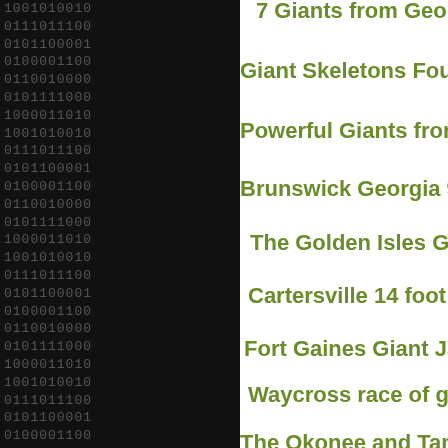[Figure (other): Black background panel with repeating binary digits (0s and 1s) in dark grey monospace font, covering the left portion of the page.]
7 Giants from Georgia
Giant Skeletons Found in a Georgia
Powerful Giants from Georgia
Brunswick Georgia 9 foo
The Golden Isles Gi
Cartersville 14 foot g
Fort Gaines Giant Jaw
Waycross race of gi
The Okonee and Tamat
St Simon Georgia 8 f
Putnam County Battle Ax